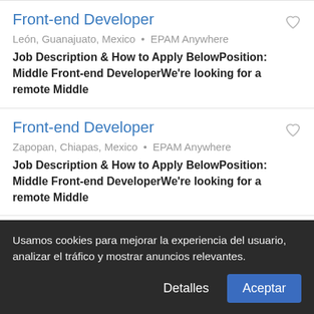Front-end Developer
León, Guanajuato, Mexico • EPAM Anywhere
Job Description & How to Apply BelowPosition:  Middle Front-end DeveloperWe're looking for a remote Middle
Front-end Developer
Zapopan, Chiapas, Mexico • EPAM Anywhere
Job Description & How to Apply BelowPosition:  Middle Front-end DeveloperWe're looking for a remote Middle
Front-end Developer
Tijuana, Baja California, Mexico • EPAM Anywhere
Job Description & How to Apply BelowPosition:  Middle Front-end DeveloperWe're looking for a remote Middle
Usamos cookies para mejorar la experiencia del usuario, analizar el tráfico y mostrar anuncios relevantes.
Detalles
Aceptar